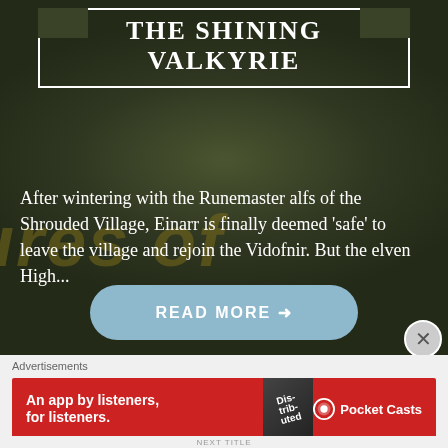THE SHINING VALKYRIE
After wintering with the Runemaster alfs of the Shrouded Village, Einarr is finally deemed 'safe' to leave the village and rejoin the Vidofnir. But the elven High...
READ MORE →
Advertisements
[Figure (other): Pocket Casts podcast app advertisement banner. Red background with white text 'An app by listeners, for listeners.' and Pocket Casts logo on the right.]